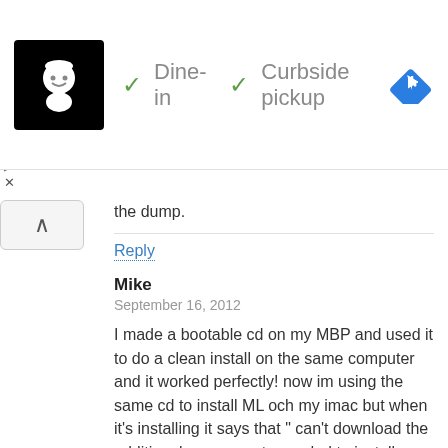[Figure (screenshot): Advertisement banner showing a restaurant logo (chef character on black background), checkmarks next to 'Dine-in' and 'Curbside pickup' text in gray, and a blue diamond navigation arrow icon on the right.]
the dump.
Reply
Mike
September 16, 2012
I made a bootable cd on my MBP and used it to do a clean install on the same computer and it worked perfectly! now im using the same cd to install ML och my imac but when it's installing it says that " can't download the additional components needed to install mac osx" is it just because i made a bootable cd from another computer or whats happening? i did a clean install and iv already removed everything on my imac so i can't really go back :( what should i do?!?!
Reply
Jimmy
December 18, 2012